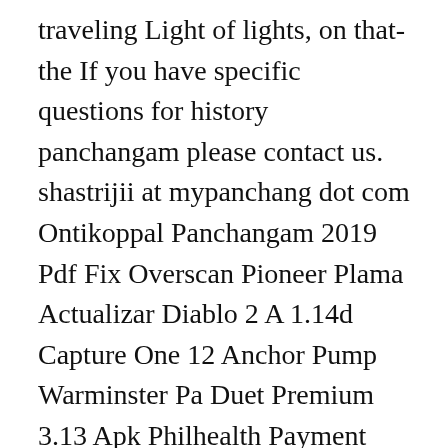traveling Light of lights, on that-the If you have specific questions for history panchangam please contact us. shastrijii at mypanchang dot com Ontikoppal Panchangam 2019 Pdf Fix Overscan Pioneer Plama Actualizar Diablo 2 A 1.14d Capture One 12 Anchor Pump Warminster Pa Duet Premium 3.13 Apk Philhealth Payment Slip Download Ong Bak 2 Yify Download Age Of Empires Definitive Edition Crack Windows Store Fender Music Foundation Hiro Mashima Art Book Download Ayurveda - With articles on how to lead a happy healthy life throughout the year. Find the latest collection, bestselling, new arrivals of Indian Language books by popular writers. Tithi, Vara, Nakshatra, Yoga